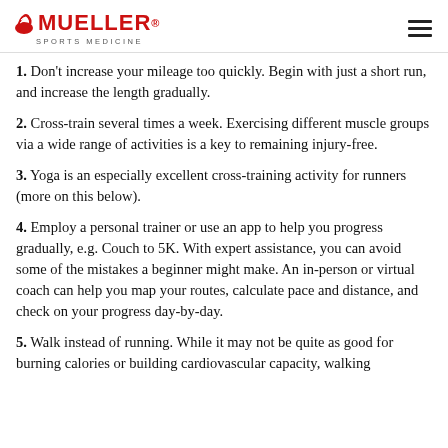Mueller Sports Medicine
1. Don't increase your mileage too quickly. Begin with just a short run, and increase the length gradually.
2. Cross-train several times a week. Exercising different muscle groups via a wide range of activities is a key to remaining injury-free.
3. Yoga is an especially excellent cross-training activity for runners (more on this below).
4. Employ a personal trainer or use an app to help you progress gradually, e.g. Couch to 5K. With expert assistance, you can avoid some of the mistakes a beginner might make. An in-person or virtual coach can help you map your routes, calculate pace and distance, and check on your progress day-by-day.
5. Walk instead of running. While it may not be quite as good for burning calories or building cardiovascular capacity, walking...